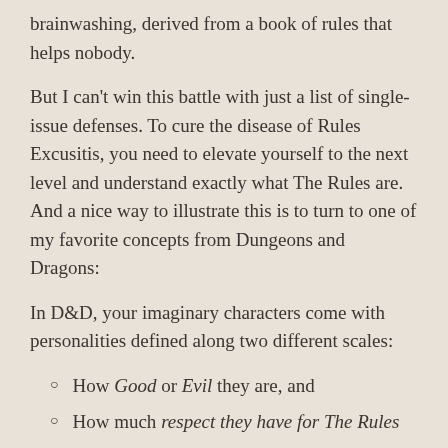brainwashing, derived from a book of rules that helps nobody.
But I can't win this battle with just a list of single-issue defenses. To cure the disease of Rules Excusitis, you need to elevate yourself to the next level and understand exactly what The Rules are. And a nice way to illustrate this is to turn to one of my favorite concepts from Dungeons and Dragons:
In D&D, your imaginary characters come with personalities defined along two different scales:
How Good or Evil they are, and
How much respect they have for The Rules
So you end up with descriptions like Chaotic Evil, Chaotic Good, Lawful Evil, and Lawful Good. If we put these into a colorful table with some insightful examples, it would